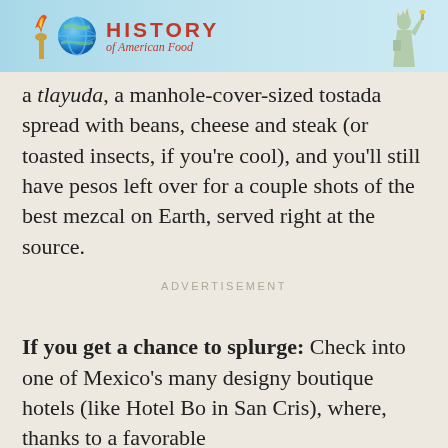[Figure (illustration): Banner advertisement for 'History of American Food' showing colorful icons including a globe, torch/flame, and Statue of Liberty on a light blue background with red text.]
a tlayuda, a manhole-cover-sized tostada spread with beans, cheese and steak (or toasted insects, if you're cool), and you'll still have pesos left over for a couple shots of the best mezcal on Earth, served right at the source.
ADVERTISEMENT
If you get a chance to splurge: Check into one of Mexico's many designy boutique hotels (like Hotel Bo in San Cris), where, thanks to a favorable